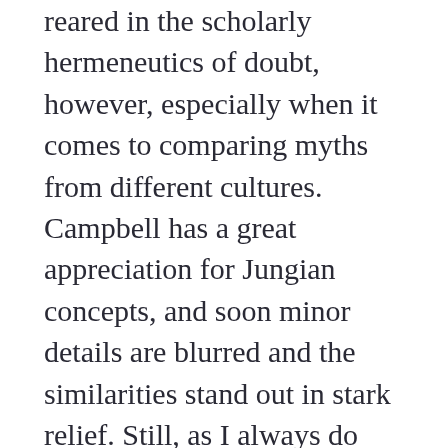reared in the scholarly hermeneutics of doubt, however, especially when it comes to comparing myths from different cultures. Campbell has a great appreciation for Jungian concepts, and soon minor details are blurred and the similarities stand out in stark relief. Still, as I always do with Campbell, I came away with plenty of rich concepts over which to mull.